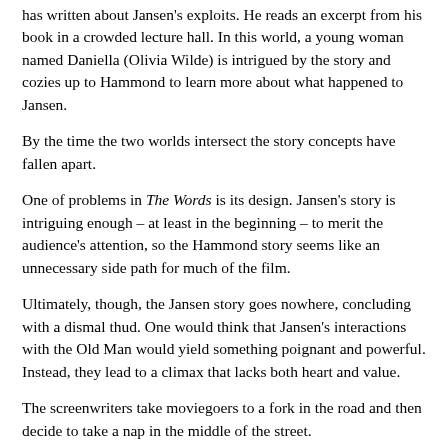has written about Jansen's exploits. He reads an excerpt from his book in a crowded lecture hall. In this world, a young woman named Daniella (Olivia Wilde) is intrigued by the story and cozies up to Hammond to learn more about what happened to Jansen.
By the time the two worlds intersect the story concepts have fallen apart.
One of problems in The Words is its design. Jansen's story is intriguing enough – at least in the beginning – to merit the audience's attention, so the Hammond story seems like an unnecessary side path for much of the film.
Ultimately, though, the Jansen story goes nowhere, concluding with a dismal thud. One would think that Jansen's interactions with the Old Man would yield something poignant and powerful. Instead, they lead to a climax that lacks both heart and value.
The screenwriters take moviegoers to a fork in the road and then decide to take a nap in the middle of the street.
With a runtime of roughly 96 minutes, one would also think that the film would be a breezy escape. Instead, the story drags on so tediously that the movie feels like it clocks in at over two hours.
The Words also it seems to be more about its status as a...